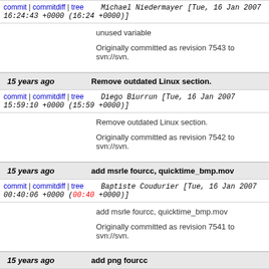commit | commitdiff | tree   Michael Niedermayer [Tue, 16 Jan 2007 16:24:43 +0000 (16:24 +0000)]
unused variable

Originally committed as revision 7543 to svn://svn.
15 years ago   Remove outdated Linux section.
commit | commitdiff | tree   Diego Biurrun [Tue, 16 Jan 2007 15:59:10 +0000 (15:59 +0000)]
Remove outdated Linux section.

Originally committed as revision 7542 to svn://svn.
15 years ago   add msrle fourcc, quicktime_bmp.mov
commit | commitdiff | tree   Baptiste Coudurier [Tue, 16 Jan 2007 00:40:06 +0000 (00:40 +0000)]
add msrle fourcc, quicktime_bmp.mov

Originally committed as revision 7541 to svn://svn.
15 years ago   add png fourcc